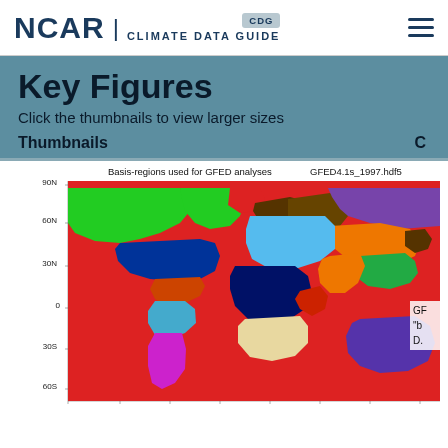NCAR | CLIMATE DATA GUIDE CDG
Key Figures
Click the thumbnails to view larger sizes
Thumbnails
[Figure (map): World map showing basis-regions used for GFED analyses. Regions are color-coded: red (ocean/background), green (boreal North America), dark blue (CONUS), yellow (Central America), light blue/cyan (northern South America), magenta (southern South America), dark brown (Europe/north), dark red (eastern Europe), purple (northern Asia), orange (central Asia), light blue (Middle East/North Africa), dark navy (sub-Saharan Africa), beige/cream (southern Africa), green (Southeast Asia), purple (Australia). File: GFED4.1s_1997.hdf5]
GF "b D.